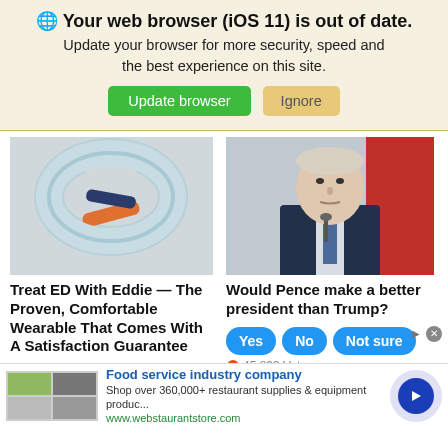🌐 Your web browser (iOS 11) is out of date. Update your browser for more security, speed and the best experience on this site. [Update browser] [Ignore]
[Figure (photo): Close-up photo of light blue foam ring/horseshoe shape with orange and navy blue fabric ties — an ED wearable device]
Treat ED With Eddie — The Proven, Comfortable Wearable That Comes With A Satisfaction Guarantee
[Figure (photo): Photo of Mike Pence in a navy suit at a podium with microphone, red background visible]
Would Pence make a better president than Trump?
Yes   No   Not sure
45,893 Votes
Food service industry company
Shop over 360,000+ restaurant supplies & equipment produc...
www.webstaurantstore.com